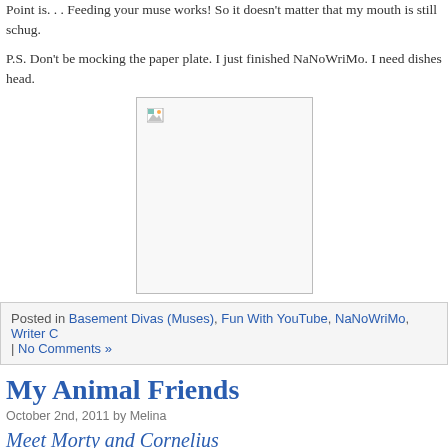Point is. . . Feeding your muse works! So it doesn't matter that my mouth is still schug.
P.S. Don't be mocking the paper plate. I just finished NaNoWriMo. I need dishes head.
[Figure (photo): A broken/missing image placeholder with a small image icon in the top-left corner, displayed as a white rectangle with border.]
Posted in Basement Divas (Muses), Fun With YouTube, NaNoWriMo, Writer C | No Comments »
My Animal Friends
October 2nd, 2011 by Melina
Meet Morty and Cornelius
[Figure (illustration): Greek meander/key decorative border in blue]
Well. Sadly, I am back from my summer adventure. I was gone for over two months home, and back at work. Creature's back too.
It's like I never left.
But even though they don't seem real, I still have a few stories and pictures to s some of the animal friends I made this summer.